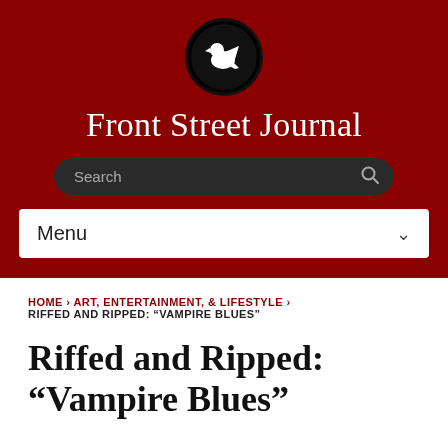[Figure (logo): Circular black logo with a bird/raven silhouette on dark red background for Front Street Journal]
Front Street Journal
Search
Menu
HOME › ART, ENTERTAINMENT, & LIFESTYLE › RIFFED AND RIPPED: “VAMPIRE BLUES”
Riffed and Ripped: “Vampire Blues”